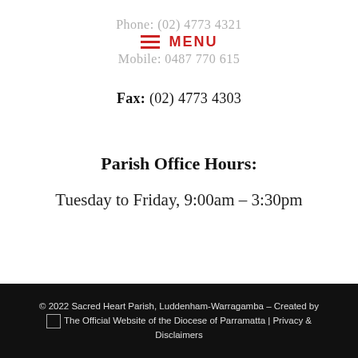Phone: (02) 4773 4321
≡ MENU
Mobile: 0487 770 615
Fax: (02) 4773 4303
Parish Office Hours:
Tuesday to Friday, 9:00am – 3:30pm
© 2022 Sacred Heart Parish, Luddenham-Warragamba – Created by [The Official Website of the Diocese of Parramatta] | Privacy & Disclaimers